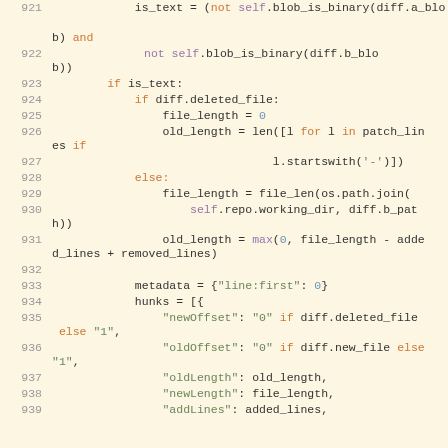[Figure (screenshot): Source code listing showing Python code lines 921–939 with syntax highlighting on a light yellow background. Line numbers in grey on the left. Keywords in orange, 'self' in purple, strings in green, numbers in blue.]